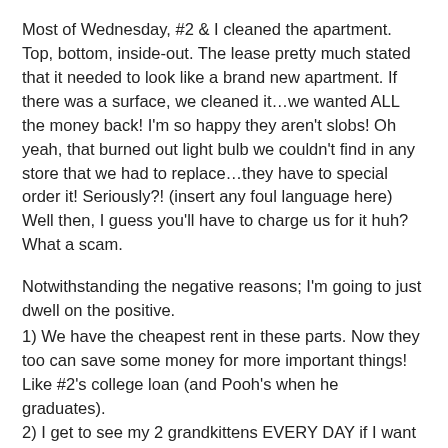Most of Wednesday, #2 & I cleaned the apartment. Top, bottom, inside-out. The lease pretty much stated that it needed to look like a brand new apartment. If there was a surface, we cleaned it…we wanted ALL the money back! I'm so happy they aren't slobs! Oh yeah, that burned out light bulb we couldn't find in any store that we had to replace…they have to special order it! Seriously?! (insert any foul language here) Well then, I guess you'll have to charge us for it huh? What a scam.
Notwithstanding the negative reasons; I'm going to just dwell on the positive.
1) We have the cheapest rent in these parts. Now they too can save some money for more important things! Like #2's college loan (and Pooh's when he graduates).
2) I get to see my 2 grandkittens EVERY DAY if I want to. The boys love their grandma!
3) I can go back to only visiting this particular city when I attend functions at my Alma mater or hang out with my girlfriend. Oh Happy Day!
4) Getting a full load of clothes for the washing machine…